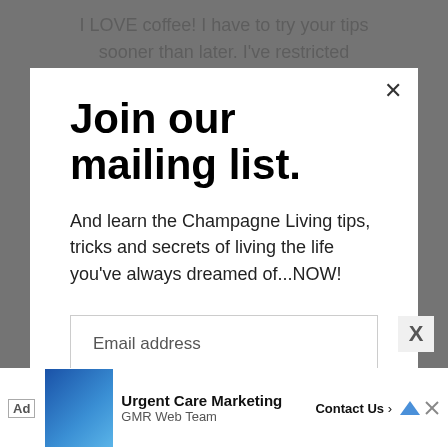I LOVE coffee! I have to try your tips sooner than later. I've restricted
Join our mailing list.
And learn the Champagne Living tips, tricks and secrets of living the life you've always dreamed of...NOW!
Email address
Subscribe
only dufference is that we take the
[Figure (other): Advertisement banner with photo of woman, text 'Urgent Care Marketing', 'GMR Web Team', 'Contact Us' button and Ad label]